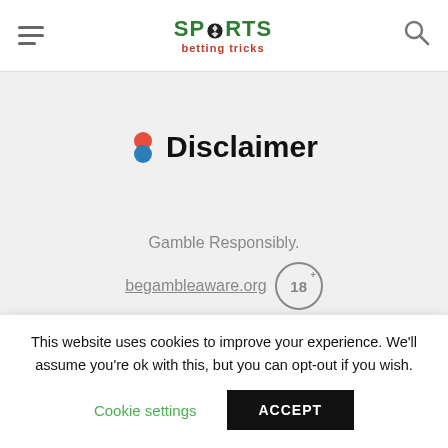SPORTS betting tricks
Disclaimer
Gamble Responsibly.
begambleaware.org
As you are aware, the right to access and/or use the
This website uses cookies to improve your experience. We'll assume you're ok with this, but you can opt-out if you wish. Cookie settings ACCEPT